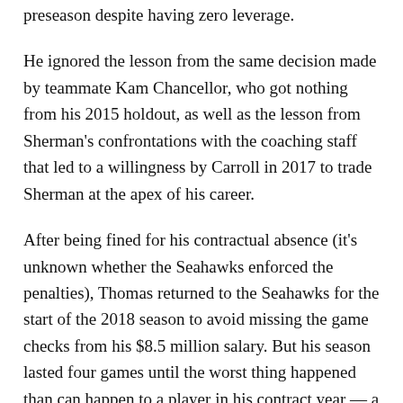preseason despite having zero leverage.
He ignored the lesson from the same decision made by teammate Kam Chancellor, who got nothing from his 2015 holdout, as well as the lesson from Sherman's confrontations with the coaching staff that led to a willingness by Carroll in 2017 to trade Sherman at the apex of his career.
After being fined for his contractual absence (it's unknown whether the Seahawks enforced the penalties), Thomas returned to the Seahawks for the start of the 2018 season to avoid missing the game checks from his $8.5 million salary. But his season lasted four games until the worst thing happened than can happen to a player in his contract year — a season-ending injury.
But the broken leg, his second, isn't career-threatening, as far as is known. What is a threat to his desire to be the